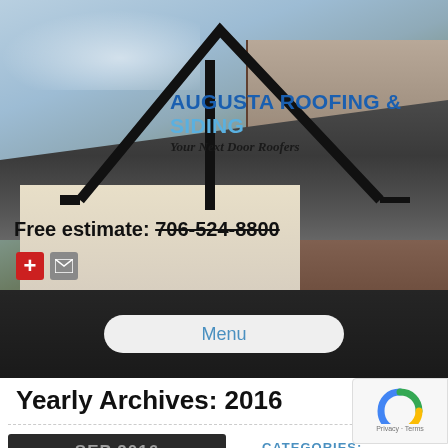[Figure (screenshot): Augusta Roofing & Siding website header with house photo, roof outline logo, brand name, tagline, free estimate phone number, and icons]
Free estimate: 706-524-8800
Menu
Yearly Archives: 2016
SEP 2016
CATEGORIES: